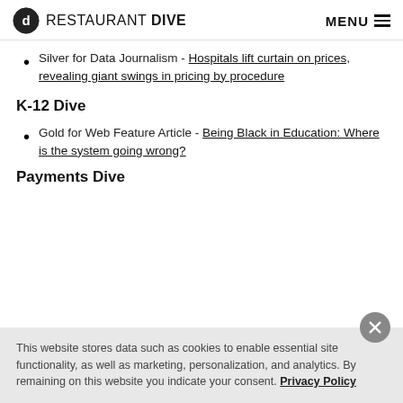RESTAURANT DIVE   MENU
Silver for Data Journalism - Hospitals lift curtain on prices, revealing giant swings in pricing by procedure
K-12 Dive
Gold for Web Feature Article - Being Black in Education: Where is the system going wrong?
Payments Dive
This website stores data such as cookies to enable essential site functionality, as well as marketing, personalization, and analytics. By remaining on this website you indicate your consent. Privacy Policy